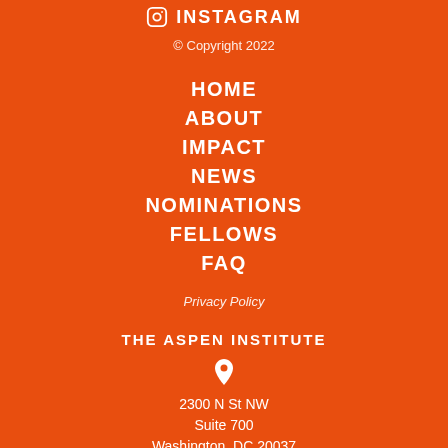INSTAGRAM
© Copyright 2022
HOME
ABOUT
IMPACT
NEWS
NOMINATIONS
FELLOWS
FAQ
Privacy Policy
THE ASPEN INSTITUTE
2300 N St NW
Suite 700
Washington, DC 20037